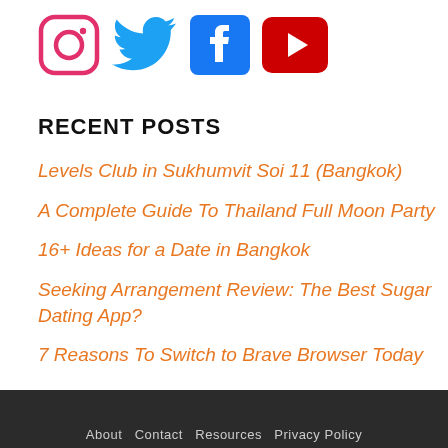[Figure (illustration): Social media icons: Instagram (pink/red circle camera), Twitter (blue bird), Facebook (dark blue 'f' square), YouTube (red play button square)]
RECENT POSTS
Levels Club in Sukhumvit Soi 11 (Bangkok)
A Complete Guide To Thailand Full Moon Party
16+ Ideas for a Date in Bangkok
Seeking Arrangement Review: The Best Sugar Dating App?
7 Reasons To Switch to Brave Browser Today
About   Contact   Resources   Privacy Policy